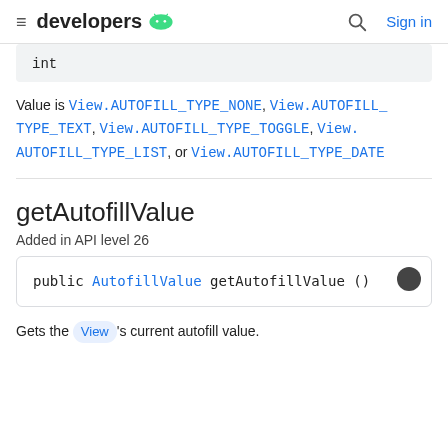developers [android icon] Sign in
int
Value is View.AUTOFILL_TYPE_NONE, View.AUTOFILL_TYPE_TEXT, View.AUTOFILL_TYPE_TOGGLE, View.AUTOFILL_TYPE_LIST, or View.AUTOFILL_TYPE_DATE
getAutofillValue
Added in API level 26
public AutofillValue getAutofillValue ()
Gets the View's current autofill value.